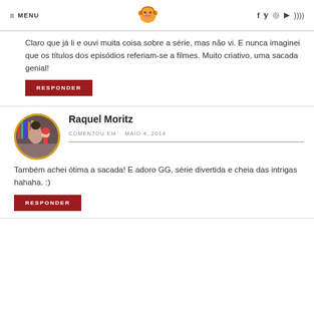MENU | [logo] | f y instagram youtube rss
Claro que já li e ouvi muita coisa sobre a série, mas não vi. E nunca imaginei que os títulos dos episódios referiam-se a filmes. Muito criativo, uma sacada genial!
RESPONDER
Raquel Moritz
COMENTOU EM   MAIO 4, 2014
Também achei ótima a sacada! E adoro GG, série divertida e cheia das intrigas hahaha. :)
RESPONDER